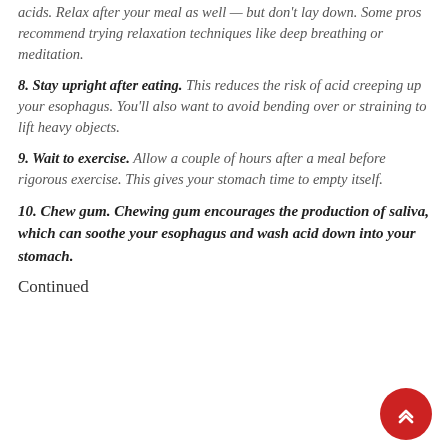acids. Relax after your meal as well — but don't lay down. Some pros recommend trying relaxation techniques like deep breathing or meditation.
8. Stay upright after eating. This reduces the risk of acid creeping up your esophagus. You'll also want to avoid bending over or straining to lift heavy objects.
9. Wait to exercise. Allow a couple of hours after a meal before rigorous exercise. This gives your stomach time to empty itself.
10. Chew gum. Chewing gum encourages the production of saliva, which can soothe your esophagus and wash acid down into your stomach.
Continued